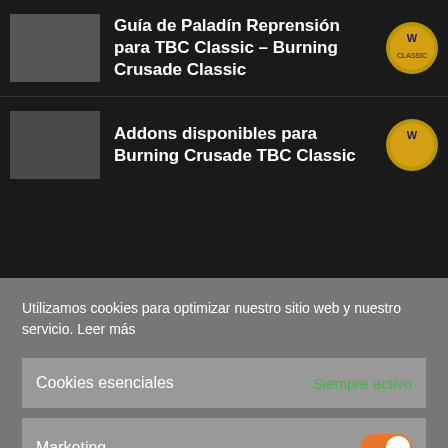Guía de Paladín Reprensión para TBC Classic – Burning Crusade Classic
Addons disponibles para Burning Crusade TBC Classic
Utilizamos cookies para optimizar nuestro sitio web y nuestro servicio. Leer más
Cookies esenciales — Siempre activo
Marketing — toggle on
Todas las cookies
Guardar preferencias